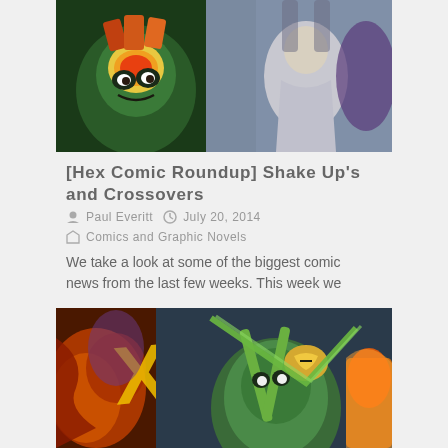[Figure (illustration): Comic book cover artwork showing Teenage Mutant Ninja Turtles character and a figure in a white hoodie with colorful comic-style lettering in background]
[Hex Comic Roundup] Shake Up's and Crossovers
Paul Everitt   July 20, 2014
Comics and Graphic Novels
We take a look at some of the biggest comic news from the last few weeks. This week we have Thor, Captain America, Turtles and Ghostbusters.
[Figure (illustration): Comic book artwork showing Green Arrow character in green costume holding a bow, with dramatic fire and energy effects in the background, and stylized yellow letter X visible]